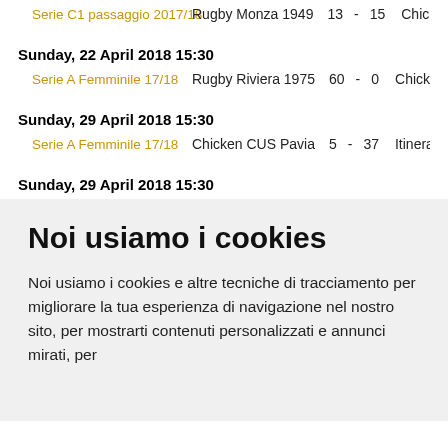Serie C1 passaggio 2017/18   Rugby Monza 1949  13  -  15  Chicken 2…
Sunday, 22 April 2018 15:30
Serie A Femminile 17/18   Rugby Riviera 1975  60  -  0  Chicken C…
Sunday, 29 April 2018 15:30
Serie A Femminile 17/18   Chicken CUS Pavia  5  -  37  Itinera CU…
Sunday, 29 April 2018 15:30
Noi usiamo i cookies
Noi usiamo i cookies e altre tecniche di tracciamento per migliorare la tua esperienza di navigazione nel nostro sito, per mostrarti contenuti personalizzati e annunci mirati, per